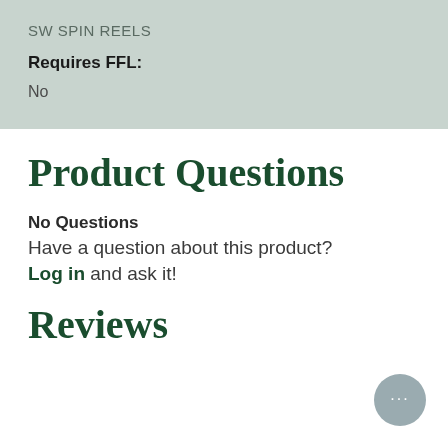SW SPIN REELS
Requires FFL:
No
Product Questions
No Questions
Have a question about this product?
Log in and ask it!
Reviews